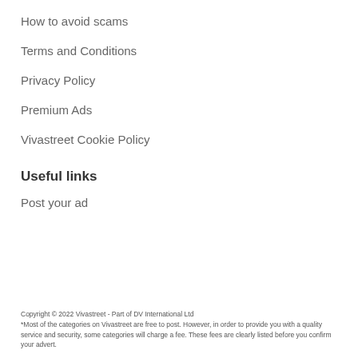How to avoid scams
Terms and Conditions
Privacy Policy
Premium Ads
Vivastreet Cookie Policy
Useful links
Post your ad
Copyright © 2022 Vivastreet - Part of DV International Ltd
*Most of the categories on Vivastreet are free to post. However, in order to provide you with a quality service and security, some categories will charge a fee. These fees are clearly listed before you confirm your advert.